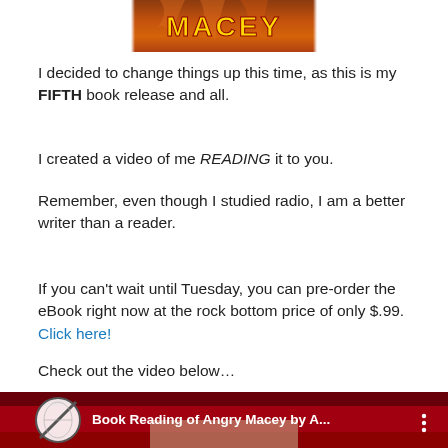[Figure (photo): Top of book cover image with fiery orange/brown background and partial text reading 'MACEY']
I decided to change things up this time, as this is my FIFTH book release and all.
I created a video of me READING it to you.
Remember, even though I studied radio, I am a better writer than a reader.
If you can't wait until Tuesday, you can pre-order the eBook right now at the rock bottom price of only $.99. Click here!
Check out the video below…
[Figure (screenshot): YouTube video thumbnail showing 'Book Reading of Angry Macey by A...' with a circular no-symbol icon on the left and three-dot menu on the right, over a red background with a person's face visible at the bottom]